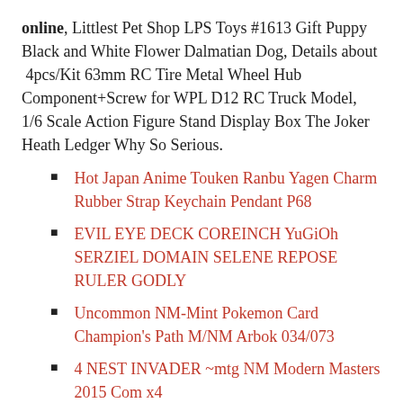online, Littlest Pet Shop LPS Toys #1613 Gift Puppy Black and White Flower Dalmatian Dog, Details about 4pcs/Kit 63mm RC Tire Metal Wheel Hub Component+Screw for WPL D12 RC Truck Model, 1/6 Scale Action Figure Stand Display Box The Joker Heath Ledger Why So Serious.
Hot Japan Anime Touken Ranbu Yagen Charm Rubber Strap Keychain Pendant P68
EVIL EYE DECK COREINCH YuGiOh SERZIEL DOMAIN SELENE REPOSE RULER GODLY
Uncommon NM-Mint Pokemon Card Champion's Path M/NM Arbok 034/073
4 NEST INVADER ~mtg NM Modern Masters 2015 Com x4
7Pcs/Set 1:12 miniature resin landscape flower